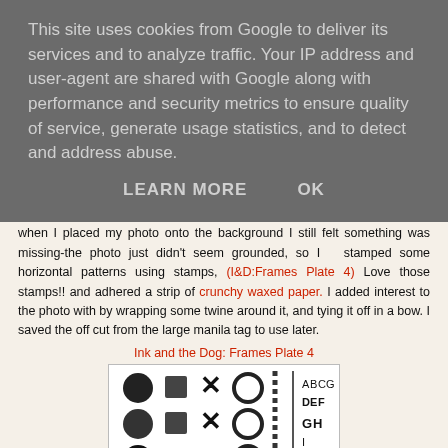This site uses cookies from Google to deliver its services and to analyze traffic. Your IP address and user-agent are shared with Google along with performance and security metrics to ensure quality of service, generate usage statistics, and to detect and address abuse.
LEARN MORE   OK
Then it was time to start building up the other elements of my page. Again when I placed my photo onto the background I still felt something was missing-the photo just didn't seem grounded, so I stamped some horizontal patterns using stamps, (I&D:Frames Plate 4) Love those stamps!! and adhered a strip of crunchy waxed paper. I added interest to the photo with by wrapping some twine around it, and tying it off in a bow. I saved the off cut from the large manila tag to use later.
Ink and the Dog: Frames Plate 4
[Figure (photo): Photo of rubber stamp set showing circles, X shapes, and circular outlines arranged in rows, plus alphabet letters on the right side. Black ink on white background.]